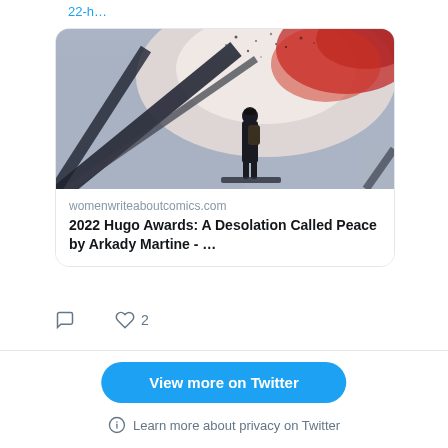22-h…
[Figure (photo): A figure standing on a steel bridge structure, silhouetted against a dramatic sky with red smoke and debris in the air — book cover art for 'A Desolation Called Peace' by Arkady Martine]
womenwriteaboutcomics.com
2022 Hugo Awards: A Desolation Called Peace by Arkady Martine - …
♡ 2
View more on Twitter
Learn more about privacy on Twitter